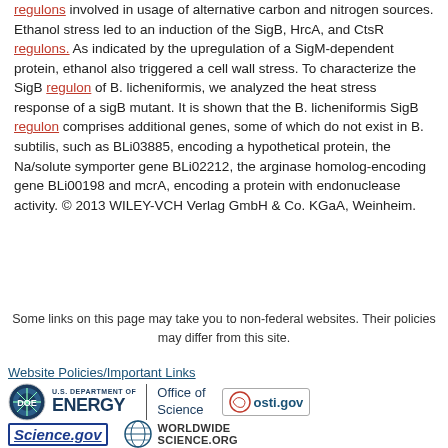regulons involved in usage of alternative carbon and nitrogen sources. Ethanol stress led to an induction of the SigB, HrcA, and CtsR regulons. As indicated by the upregulation of a SigM-dependent protein, ethanol also triggered a cell wall stress. To characterize the SigB regulon of B. licheniformis, we analyzed the heat stress response of a sigB mutant. It is shown that the B. licheniformis SigB regulon comprises additional genes, some of which do not exist in B. subtilis, such as BLi03885, encoding a hypothetical protein, the Na/solute symporter gene BLi02212, the arginase homolog-encoding gene BLi00198 and mcrA, encoding a protein with endonuclease activity. © 2013 WILEY-VCH Verlag GmbH & Co. KGaA, Weinheim.
[Figure (other): Pagination control showing pages: « 1 2 3 4 5 »]
Some links on this page may take you to non-federal websites. Their policies may differ from this site.
Website Policies/Important Links
[Figure (logo): U.S. Department of Energy - Office of Science logo]
[Figure (logo): osti.gov logo]
[Figure (logo): Science.gov logo]
[Figure (logo): WorldWideScience.org logo]